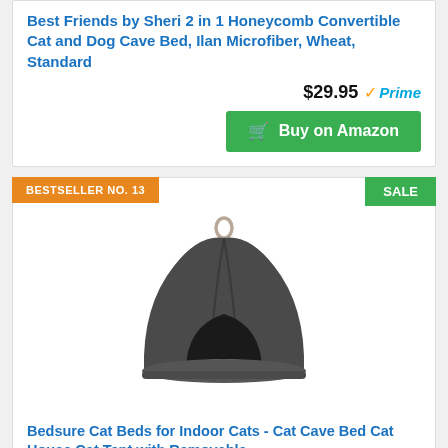Best Friends by Sheri 2 in 1 Honeycomb Convertible Cat and Dog Cave Bed, Ilan Microfiber, Wheat, Standard
$29.95 ✓Prime
Buy on Amazon
BESTSELLER NO. 13
SALE
[Figure (photo): Dark grey dome-shaped cat cave bed with a small arched opening and a white cushion inside, with a hanging loop on top]
Bedsure Cat Beds for Indoor Cats - Cat Cave Bed Cat House Cat Tent with Removable